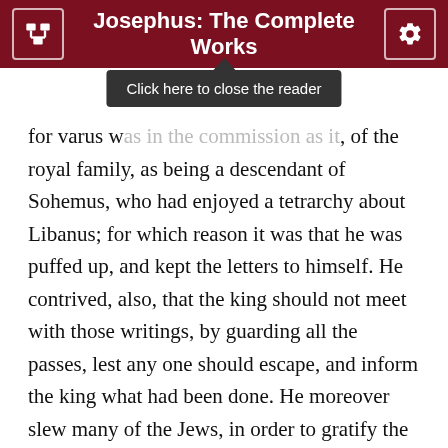Josephus: The Complete Works
for varus was in the commission as it, of the royal family, as being a descendant of Sohemus, who had enjoyed a tetrarchy about Libanus; for which reason it was that he was puffed up, and kept the letters to himself. He contrived, also, that the king should not meet with those writings, by guarding all the passes, lest any one should escape, and inform the king what had been done. He moreover slew many of the Jews, in order to gratify the Syrians of Cesarea. He had a mind also to join with the Trachonites in Batanea, and to take up arms and make an assault upon the Babylonian Jews that were at Ecbatana; for that was the name they went